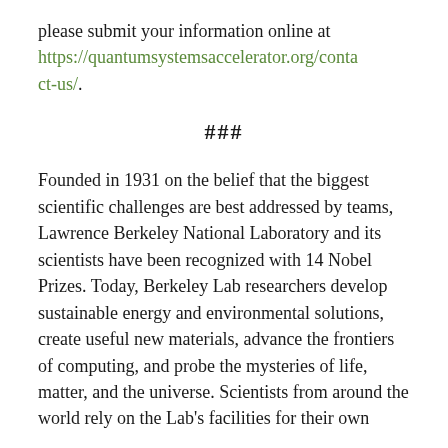please submit your information online at https://quantumsystemsaccelerator.org/contact-us/.
###
Founded in 1931 on the belief that the biggest scientific challenges are best addressed by teams, Lawrence Berkeley National Laboratory and its scientists have been recognized with 14 Nobel Prizes. Today, Berkeley Lab researchers develop sustainable energy and environmental solutions, create useful new materials, advance the frontiers of computing, and probe the mysteries of life, matter, and the universe. Scientists from around the world rely on the Lab's facilities for their own